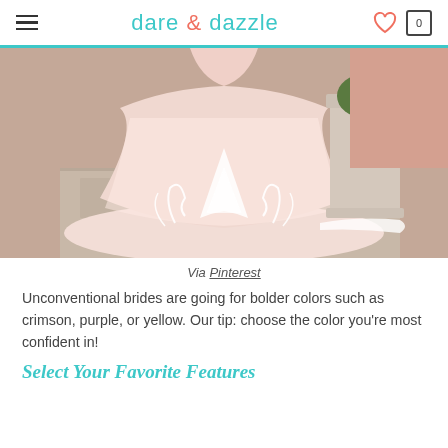dare & dazzle
[Figure (photo): A blush/champagne ball gown wedding dress with white lace appliqué on the skirt, photographed outdoors near a stone pedestal.]
Via Pinterest
Unconventional brides are going for bolder colors such as crimson, purple, or yellow. Our tip: choose the color you're most confident in!
Select Your Favorite Features